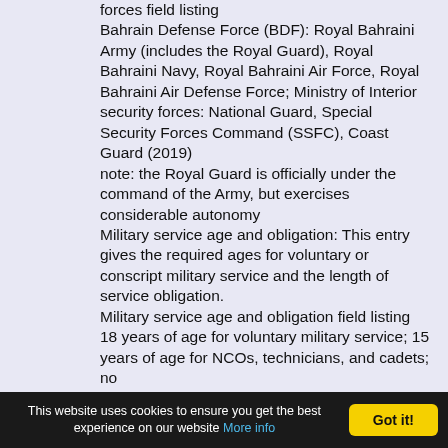forces field listing
Bahrain Defense Force (BDF): Royal Bahraini Army (includes the Royal Guard), Royal Bahraini Navy, Royal Bahraini Air Force, Royal Bahraini Air Defense Force; Ministry of Interior security forces: National Guard, Special Security Forces Command (SSFC), Coast Guard (2019)
note: the Royal Guard is officially under the command of the Army, but exercises considerable autonomy
Military service age and obligation: This entry gives the required ages for voluntary or conscript military service and the length of service obligation.
Military service age and obligation field listing
18 years of age for voluntary military service; 15 years of age for NCOs, technicians, and cadets; no
This website uses cookies to ensure you get the best experience on our website More info   Got it!